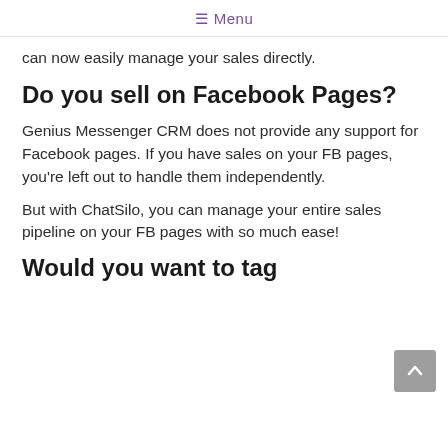≡ Menu
can now easily manage your sales directly.
Do you sell on Facebook Pages?
Genius Messenger CRM does not provide any support for Facebook pages. If you have sales on your FB pages, you're left out to handle them independently.
But with ChatSilo, you can manage your entire sales pipeline on your FB pages with so much ease!
Would you want to tag